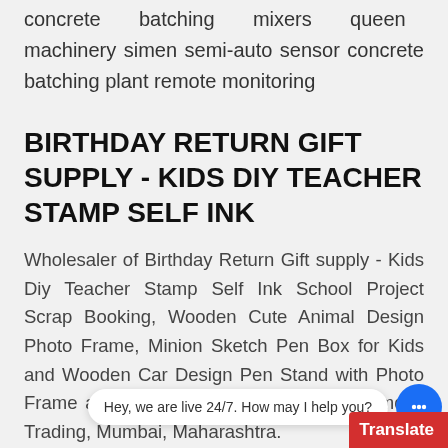concrete batching mixers queen machinery simen semi-auto sensor concrete batching plant remote monitoring
BIRTHDAY RETURN GIFT SUPPLY - KIDS DIY TEACHER STAMP SELF INK
Wholesaler of Birthday Return Gift supply - Kids Diy Teacher Stamp Self Ink School Project Scrap Booking, Wooden Cute Animal Design Photo Frame, Minion Sketch Pen Box for Kids and Wooden Car Design Pen Stand with Photo Frame and Clip Return Gift offered by Ramdev Trading, Mumbai, Maharashtra.
rajasthan m... compacting concrete in building in...